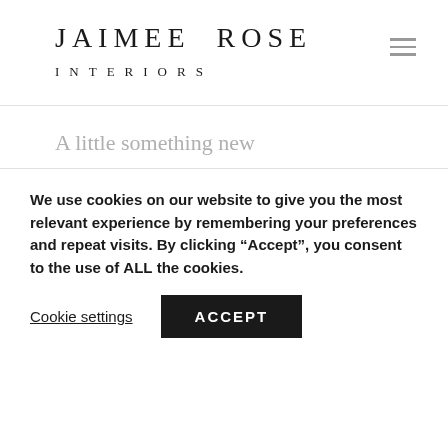JAIMEE ROSE INTERIORS
A little something new
As of last night, we have a working oven.
To reward my hard-working husband, who brought this glorious moment to fruition, I am going to crack open a new cookbook.  I
We use cookies on our website to give you the most relevant experience by remembering your preferences and repeat visits. By clicking “Accept”, you consent to the use of ALL the cookies.
Cookie settings  ACCEPT